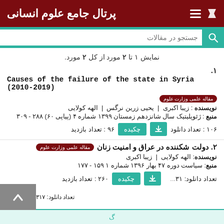پرتال جامع علوم انسانی
جستجو در مقالات
نمایش ۱ تا ۲ مورد از کل ۲ مورد.
۱. Causes of the failure of the state in Syria (2010-2019) | مقاله علمی وزارت علوم | نویسنده: زیبا اکبری | یحیی زرین نرگس | الهه کولایی | منبع: ژئوپلیتیک سال شانزدهم زمستان ۱۳۹۹ شماره ۴ (پیاپی ۶۰) ۲۸۸ - ۳۰۹ | تعداد دانلود: ۱۰۶ | تعداد بازدید: ۹۶
۲. دولت شکننده در عراق و امنیت زنان | مقاله علمی وزارت علوم | نویسنده: الهه کولایی | زیبا اکبری | منبع: سیاست دوره ۴۷ بهار ۱۳۹۶ شماره ۱ ۱۵۹ - ۱۷۷ | تعداد بازدید: ۲۶۰ | تعداد دانلود: ۳۱...